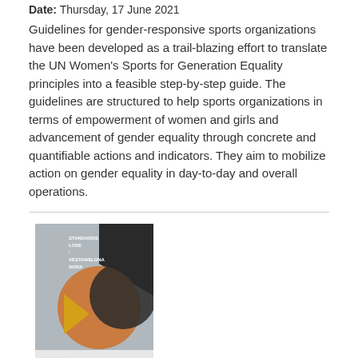Date: Thursday, 17 June 2021
Guidelines for gender-responsive sports organizations have been developed as a trail-blazing effort to translate the UN Women's Sports for Generation Equality principles into a feasible step-by-step guide. The guidelines are structured to help sports organizations in terms of empowerment of women and girls and advancement of gender equality through concrete and quantifiable actions and indicators. They aim to mobilize action on gender equality in day-to-day and overall operations.
[Figure (photo): Book cover image with abstract geometric shapes including a large orange circle and dark triangle on a grey background, with text 'STANDARDS LOSE / VESTANSLONA / DORA' and small text at bottom.]
Bad as usual, in unusual times
Date: Tuesday, 8 June 2021
To map out media practices and assess the overall quality of reporting on violence against women and girls on social media, UN Women joined forces with the BeFem non-governmental organization (NGO) to conduct an analysis entitled, 'Bad as usual, in unusual times' with the support of Norwegian embassy in